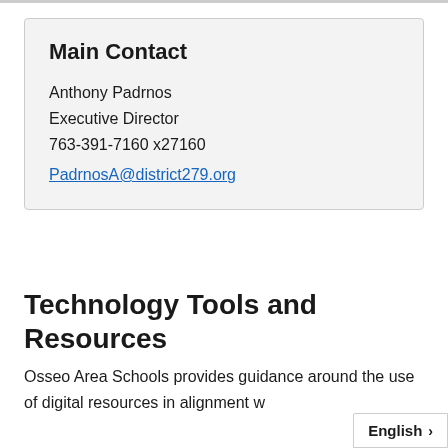Main Contact
Anthony Padrnos
Executive Director
763-391-7160 x27160
PadrnosA@district279.org
Technology Tools and Resources
Osseo Area Schools provides guidance around the use of digital resources in alignment w…